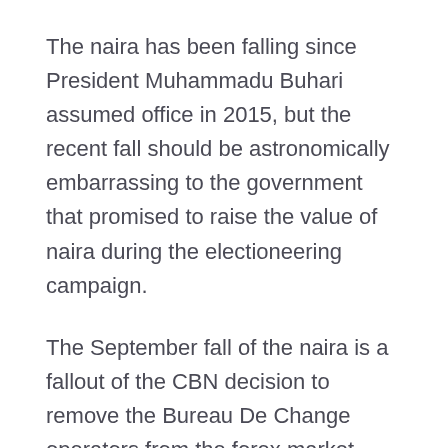The naira has been falling since President Muhammadu Buhari assumed office in 2015, but the recent fall should be astronomically embarrassing to the government that promised to raise the value of naira during the electioneering campaign.
The September fall of the naira is a fallout of the CBN decision to remove the Bureau De Change operators from the forex market.
Before the CBN's new policy, each of the 5,500 operators was receiving $20,000 from the apex